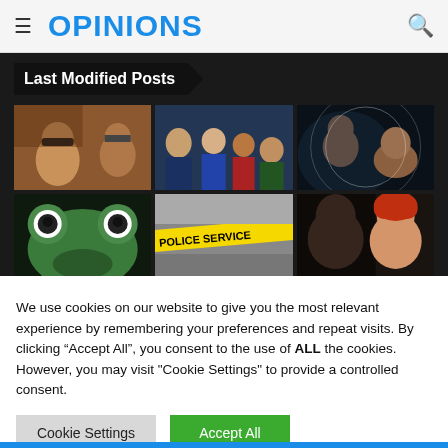OPINIONS
Last Modified Posts
[Figure (photo): Grid of 6 thumbnail images showing various people and scenes including portraits, a baby, rappers with fisheye lens, a cartoon frog, police scene tape reading 'POLICE SERVICE', and a person with red hair]
We use cookies on our website to give you the most relevant experience by remembering your preferences and repeat visits. By clicking “Accept All”, you consent to the use of ALL the cookies. However, you may visit "Cookie Settings" to provide a controlled consent.
Cookie Settings   Accept All